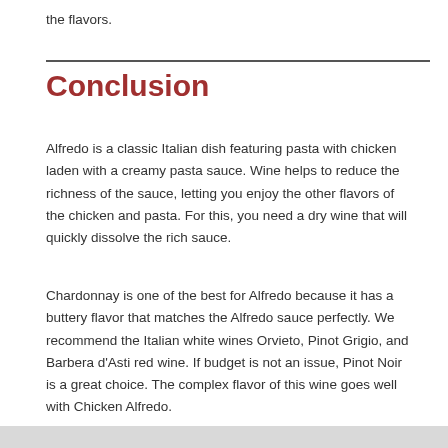the flavors.
Conclusion
Alfredo is a classic Italian dish featuring pasta with chicken laden with a creamy pasta sauce. Wine helps to reduce the richness of the sauce, letting you enjoy the other flavors of the chicken and pasta. For this, you need a dry wine that will quickly dissolve the rich sauce.
Chardonnay is one of the best for Alfredo because it has a buttery flavor that matches the Alfredo sauce perfectly. We recommend the Italian white wines Orvieto, Pinot Grigio, and Barbera d'Asti red wine. If budget is not an issue, Pinot Noir is a great choice. The complex flavor of this wine goes well with Chicken Alfredo.